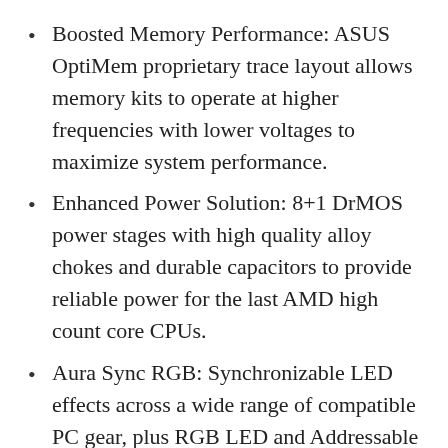Boosted Memory Performance: ASUS OptiMem proprietary trace layout allows memory kits to operate at higher frequencies with lower voltages to maximize system performance.
Enhanced Power Solution: 8+1 DrMOS power stages with high quality alloy chokes and durable capacitors to provide reliable power for the last AMD high count core CPUs.
Aura Sync RGB: Synchronizable LED effects across a wide range of compatible PC gear, plus RGB LED and Addressable Gen 2 RGB headers for greater customization.
Please ensure your BIOS is up to date if installing a compatible Ryzen 5000-series...